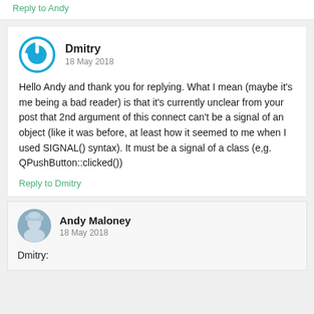Reply to Andy
Dmitry
18 May 2018
Hello Andy and thank you for replying. What I mean (maybe it's me being a bad reader) is that it's currently unclear from your post that 2nd argument of this connect can't be a signal of an object (like it was before, at least how it seemed to me when I used SIGNAL() syntax). It must be a signal of a class (e,g. QPushButton::clicked())
Reply to Dmitry
Andy Maloney
18 May 2018
Dmitry: